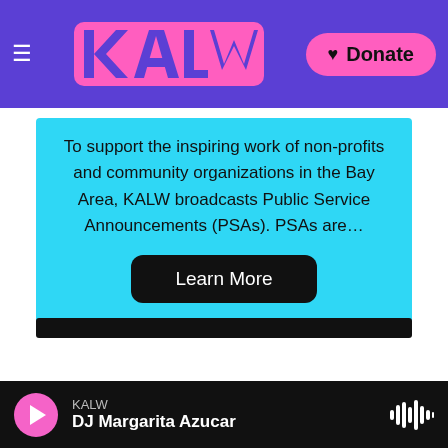[Figure (screenshot): KALW radio website navigation bar with hamburger menu, pink KALW logo on purple background, and pink Donate button with heart icon]
To support the inspiring work of non-profits and community organizations in the Bay Area, KALW broadcasts Public Service Announcements (PSAs). PSAs are…
Learn More
[Figure (screenshot): Black horizontal bar element]
[Figure (screenshot): Purple footer band with partial KALW logo in cyan]
[Figure (screenshot): Audio player bar: pink play button, KALW station label, DJ Margarita Azucar track name, waveform icon on black background]